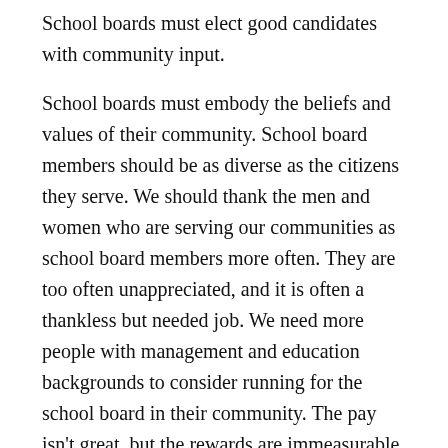School boards must elect good candidates with community input.
School boards must embody the beliefs and values of their community. School board members should be as diverse as the citizens they serve. We should thank the men and women who are serving our communities as school board members more often. They are too often unappreciated, and it is often a thankless but needed job. We need more people with management and education backgrounds to consider running for the school board in their community. The pay isn't great, but the rewards are immeasurable. The Tennessee School Boards Association has some great information on their website for those interested in this critical role.
School boards should provide superintendents